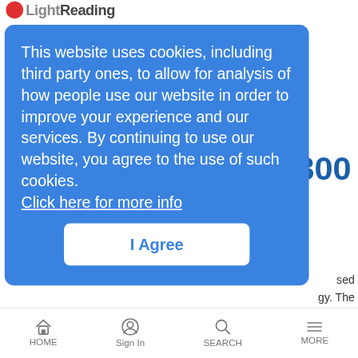Light Reading
This website uses cookies, including third party ones, to allow for analysis of how people use our website in order to improve your experience and our services. By continuing to use our website, you agree to the use of such cookies.
Click here for more info
I Agree
News Analysis | 8/24/2021
Verizon's Terrance Robinson shares insights about which mobile security threats are on the rise, and how enterprises and their employees can identify and address potential threats.
Chip shortage taking its toll on China 5G rollout
News Analysis | 8/24/2021
HOME  Sign In  SEARCH  MORE